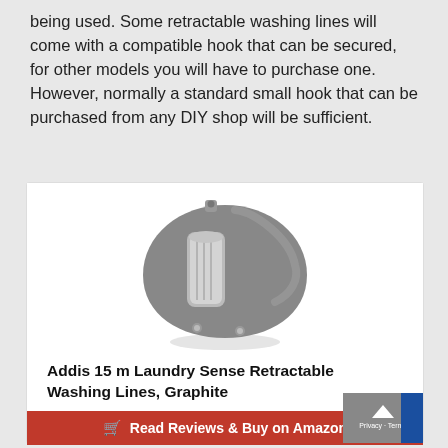being used. Some retractable washing lines will come with a compatible hook that can be secured, for other models you will have to purchase one. However, normally a standard small hook that can be purchased from any DIY shop will be sufficient.
[Figure (photo): Photo of a gray retractable washing line unit (Addis 15m Laundry Sense Retractable Washing Lines in Graphite) — a teardrop-shaped gray plastic housing with silver metal mechanism visible, shown on white background]
Addis 15 m Laundry Sense Retractable Washing Lines, Graphite
£1
Read Reviews & Buy on Amazon